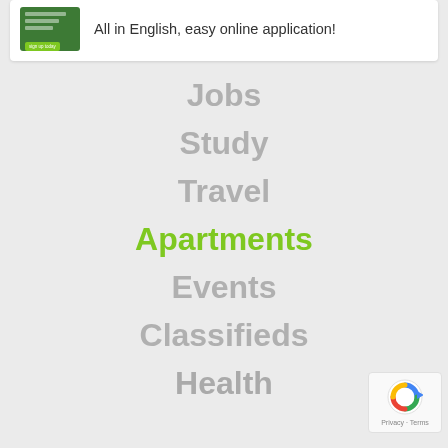[Figure (screenshot): Green card image thumbnail with checklist items and a sign-up button]
All in English, easy online application!
Jobs
Study
Travel
Apartments
Events
Classifieds
Health
[Figure (logo): reCAPTCHA badge with Privacy and Terms links]